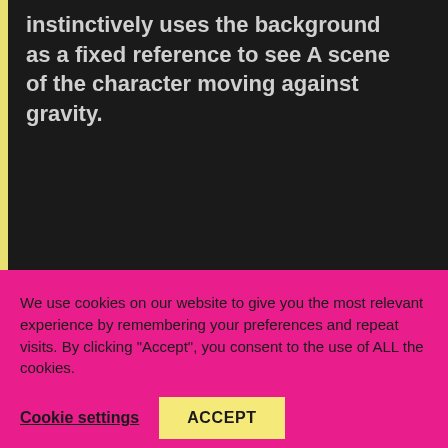instinctively uses the background as a fixed reference to see A scene of the character moving against gravity.
We use cookies on our website to give you the most relevant experience by remembering your preferences and repeat visits. By clicking “Accept”, you consent to the use of ALL the cookies.
Cookie settings
ACCEPT